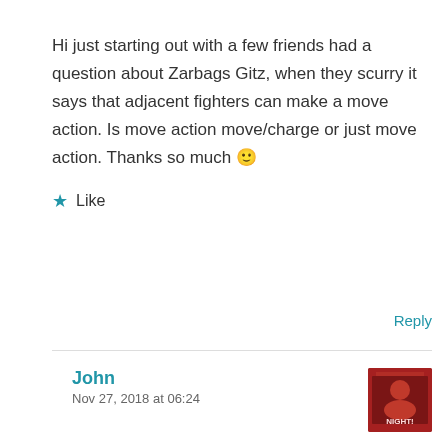Hi just starting out with a few friends had a question about Zarbags Gitz, when they scurry it says that adjacent fighters can make a move action. Is move action move/charge or just move action. Thanks so much 🙂
★ Like
Reply
John
Nov 27, 2018 at 06:24
A charge action is a move action immediately followed by an attack action. If a Git charges, adjacent Gobbos can move via Scurry.